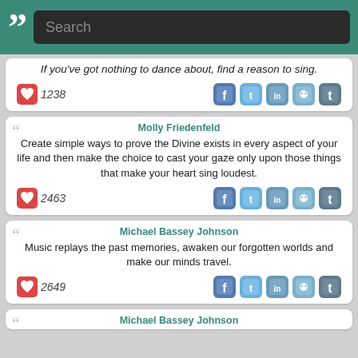Search
If you've got nothing to dance about, find a reason to sing.
1238
Molly Friedenfeld
Create simple ways to prove the Divine exists in every aspect of your life and then make the choice to cast your gaze only upon those things that make your heart sing loudest.
2463
Michael Bassey Johnson
Music replays the past memories, awaken our forgotten worlds and make our minds travel.
2649
Michael Bassey Johnson